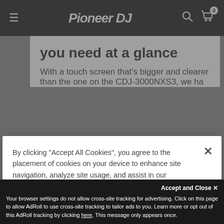Pioneer DJ
you need at a glance
With a touch screen that's bigger and clearer than the one on the CDJ-3000NXS3, we ha...
By clicking "Accept All Cookies", you agree to the placement of cookies on your device to enhance site navigation, analyze site usage, and assist in our marketing and advertising efforts. To manage your cookie preferences, click 'Cookies Settings.' We also use Strictly Necessary cookies. These cookies are required to operate the website and will always remain on. Please see our cookie policy for more information.
Cookies Settings
Reject All
Accept and Close ✕
Your browser settings do not allow cross-site tracking for advertising. Click on this page to allow AdRoll to use cross-site tracking to tailor ads to you. Learn more or opt out of this AdRoll tracking by clicking here. This message only appears once.